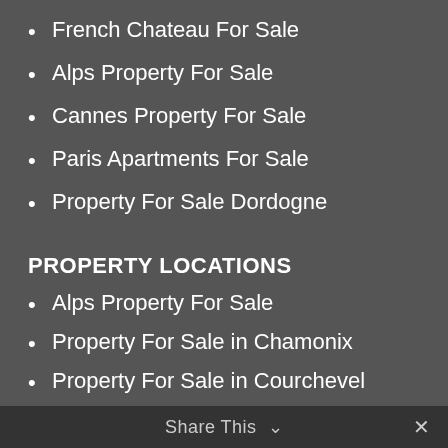French Chateau For Sale
Alps Property For Sale
Cannes Property For Sale
Paris Apartments For Sale
Property For Sale Dordogne
PROPERTY LOCATIONS
Alps Property For Sale
Property For Sale in Chamonix
Property For Sale in Courchevel
Property For Sale in Megeve
Property For Sale in Meribel
Property For Sale in Les Arcs
Property For Sale in Tignes
Share This  ∨  ✕